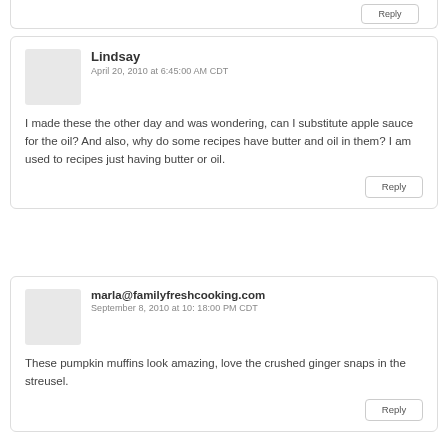Reply
Lindsay
April 20, 2010 at 6:45:00 AM CDT
I made these the other day and was wondering, can I substitute apple sauce for the oil? And also, why do some recipes have butter and oil in them? I am used to recipes just having butter or oil.
Reply
marla@familyfreshcooking.com
September 8, 2010 at 10: 18:00 PM CDT
These pumpkin muffins look amazing, love the crushed ginger snaps in the streusel.
Reply